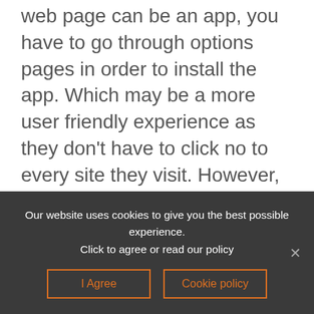web page can be an app, you have to go through options pages in order to install the app. Which may be a more user friendly experience as they don't have to click no to every site they visit. However, your users won't know that it exists as an app to download.
Desktop does let you know a site is PWA but I would guess most users don't notice that there is a small button next to the favourite icon on chrome: If you click that then you are able to download the site as a PWA app.
Our website uses cookies to give you the best possible experience. Click to agree or read our policy
I Agree
Cookie policy